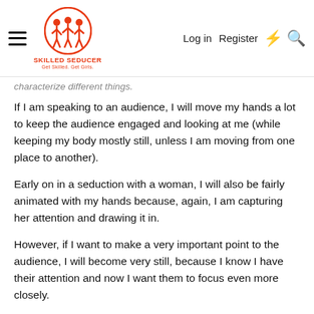Skilled Seducer — Log in  Register
characterize different things.
If I am speaking to an audience, I will move my hands a lot to keep the audience engaged and looking at me (while keeping my body mostly still, unless I am moving from one place to another).
Early on in a seduction with a woman, I will also be fairly animated with my hands because, again, I am capturing her attention and drawing it in.
However, if I want to make a very important point to the audience, I will become very still, because I know I have their attention and now I want them to focus even more closely.
By the same coin, deep in a seduction, I am going nearly motionless for long stretches, just staring into her eyes, grinning a wide grin at her, and if she also falls motionless and stares